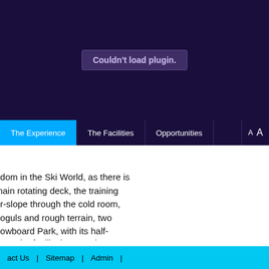[Figure (other): Dark purple video/plugin embed area showing 'Couldn't load plugin.' error message]
The Experience | The Facilities | Opportunities | A A
edom in the Ski World, as there is main rotating deck, the training er-slope through the cold room, noguls and rough terrain, two nowboard Park, with its half- ers.
he entire facility is topped up ontinuous run-off, which is snow guns inside the cold room.
act Us | Sitemap | Admin |